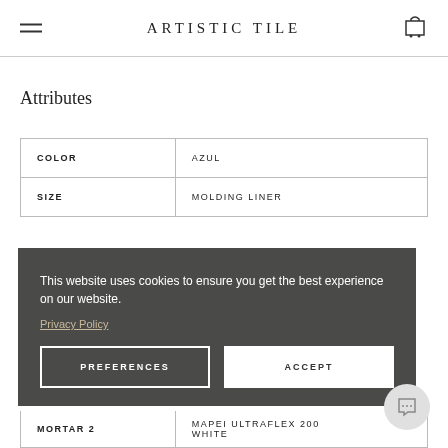ARTISTIC TILE
Attributes
| COLOR | AZUL |
| --- | --- |
| COLOR | AZUL |
| SIZE | MOLDING LINER |
| MORTAR 2 | MAPEI ULTRAFLEX 200 WHITE |
This website uses cookies to ensure you get the best experience on our website.
Privacy Policy
PREFERENCES
ACCEPT